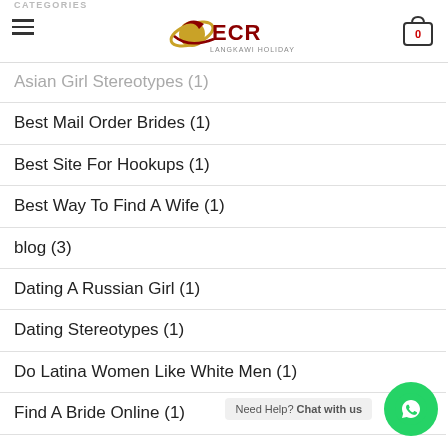CATEGORIES
[Figure (logo): ECR Langkawi Holidays logo with red and gold design]
Asian Girl Stereotypes (1)
Best Mail Order Brides (1)
Best Site For Hookups (1)
Best Way To Find A Wife (1)
blog (3)
Dating A Russian Girl (1)
Dating Stereotypes (1)
Do Latina Women Like White Men (1)
Find A Bride Online (1)
Find A Woman To Date (1)
Find Women To Date (1)
Need Help? Chat with us